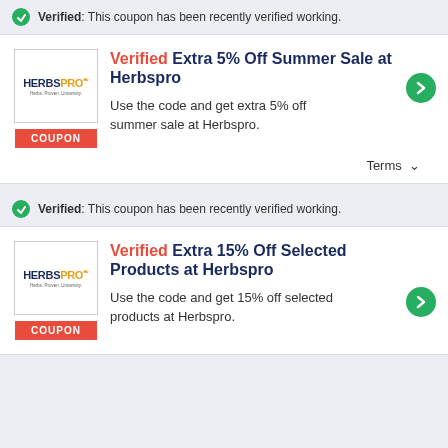Verified: This coupon has been recently verified working.
Verified Extra 5% Off Summer Sale at Herbspro
Use the code and get extra 5% off summer sale at Herbspro.
Terms
Verified: This coupon has been recently verified working.
Verified Extra 15% Off Selected Products at Herbspro
Use the code and get 15% off selected products at Herbspro.